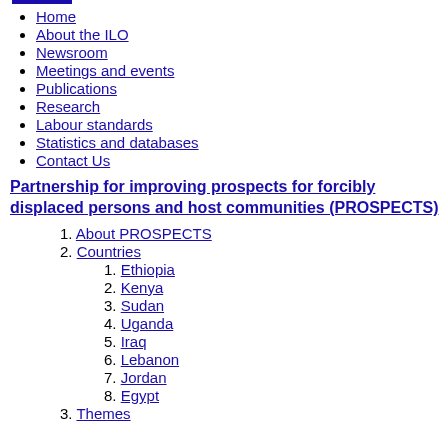Home
About the ILO
Newsroom
Meetings and events
Publications
Research
Labour standards
Statistics and databases
Contact Us
Partnership for improving prospects for forcibly displaced persons and host communities (PROSPECTS)
1. About PROSPECTS
2. Countries
1. Ethiopia
2. Kenya
3. Sudan
4. Uganda
5. Iraq
6. Lebanon
7. Jordan
8. Egypt
3. Themes